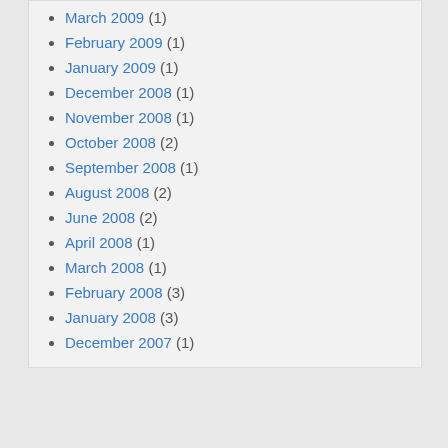March 2009 (1)
February 2009 (1)
January 2009 (1)
December 2008 (1)
November 2008 (1)
October 2008 (2)
September 2008 (1)
August 2008 (2)
June 2008 (2)
April 2008 (1)
March 2008 (1)
February 2008 (3)
January 2008 (3)
December 2007 (1)